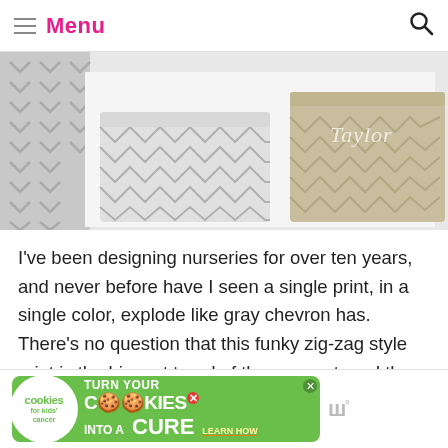Menu
[Figure (photo): Photo of gray chevron print storage baskets/bins for a nursery, with one labeled 'Taylor' in the upper right]
I've been designing nurseries for over ten years, and never before have I seen a single print, in a single color, explode like gray chevron has. There's no question that this funky zig-zag style print is the biggest trend of the moment, and the gray color can play into a girl, boy or gender neutral nursery! [...]
[Figure (infographic): Advertisement for 'cookies for kids cancer' — turn your COOKIES into a CURE LEARN HOW — green banner ad with cookie logo on left]